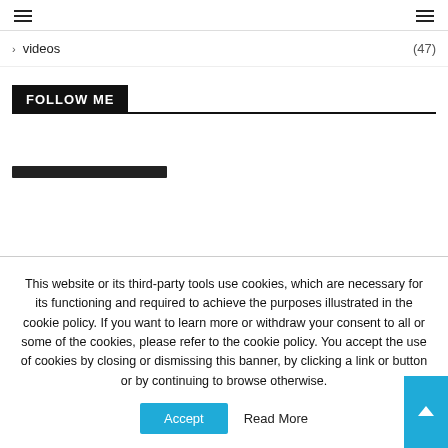☰  ☰
> videos (47)
FOLLOW ME
[Figure (other): Dark decorative bar element]
This website or its third-party tools use cookies, which are necessary for its functioning and required to achieve the purposes illustrated in the cookie policy. If you want to learn more or withdraw your consent to all or some of the cookies, please refer to the cookie policy. You accept the use of cookies by closing or dismissing this banner, by clicking a link or button or by continuing to browse otherwise.